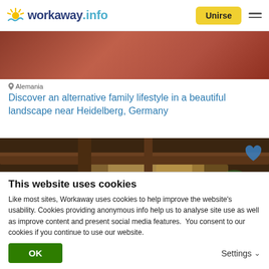workaway.info — Unirse
[Figure (photo): Top photo strip showing colorful fabric or clothing, red and dark tones]
Alemania
Discover an alternative family lifestyle in a beautiful landscape near Heidelberg, Germany
[Figure (photo): Interior/exterior photo showing wooden beams or structure with warm sunset glow and trees visible, with a blue heart icon overlay]
This website uses cookies
Like most sites, Workaway uses cookies to help improve the website's usability. Cookies providing anonymous info help us to analyse site use as well as improve content and present social media features.  You consent to our cookies if you continue to use our website.
OK
Settings